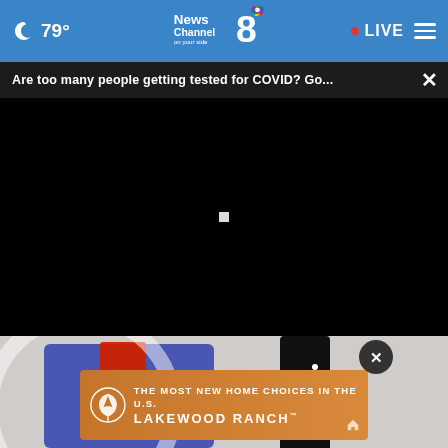79° News Channel 8 on your side · LIVE
Are too many people getting tested for COVID? Go...
[Figure (screenshot): Black video player area with a small white play/loading indicator in the center]
[Figure (photo): Partially visible photo showing colorful decorative or performance scene with dark figure and red and blue shapes]
[Figure (other): Advertisement banner for Lakewood Ranch showing logo and text THE MOST NEW HOME CHOICES IN THE U.S. LAKEWOOD RANCH]